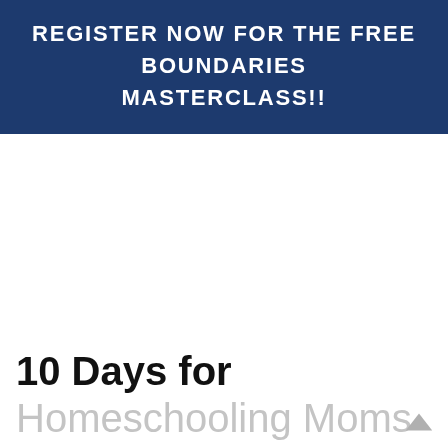REGISTER NOW FOR THE FREE BOUNDARIES MASTERCLASS!!
10 Days for Homeschooling Moms